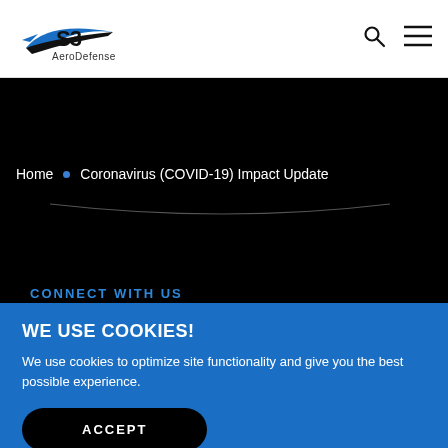[Figure (logo): S3 AeroDefense logo with stylized wing/arrow graphic in black and blue]
Home • Coronavirus (COVID-19) Impact Update
CONNECT WITH US
[Figure (infographic): Three circular social media icons: Facebook (f), Twitter (bird), LinkedIn (in)]
WE USE COOKIES!
We use cookies to optimize site functionality and give you the best possible experience.
ACCEPT